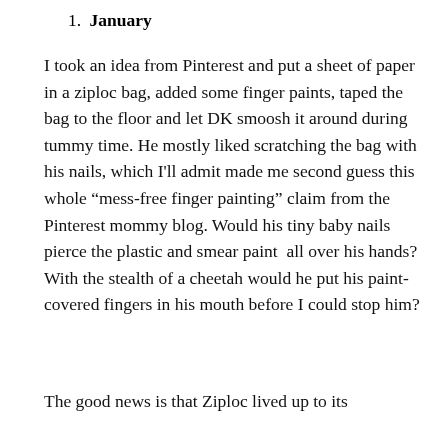1. January
I took an idea from Pinterest and put a sheet of paper in a ziploc bag, added some finger paints, taped the bag to the floor and let DK smoosh it around during tummy time. He mostly liked scratching the bag with his nails, which I’ll admit made me second guess this whole “mess-free finger painting” claim from the Pinterest mommy blog. Would his tiny baby nails pierce the plastic and smear paint  all over his hands? With the stealth of a cheetah would he put his paint-covered fingers in his mouth before I could stop him?
The good news is that Ziploc lived up to its